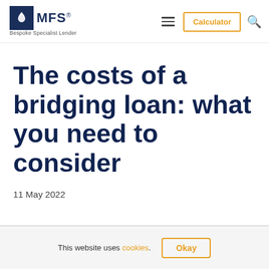MFS — Bespoke Specialist Lender
The costs of a bridging loan: what you need to consider
11 May 2022
This website uses cookies. Okay